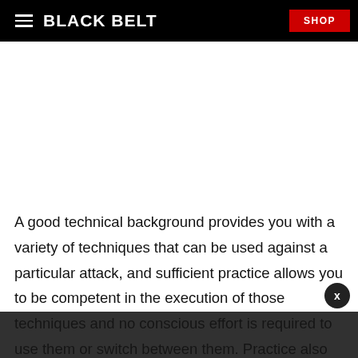BLACK BELT | SHOP
A good technical background provides you with a variety of techniques that can be used against a particular attack, and sufficient practice allows you to be competent in the execution of those techniques and no conscious effort is required to use them or switch between them. Practice also creates awareness of your and your opponent's